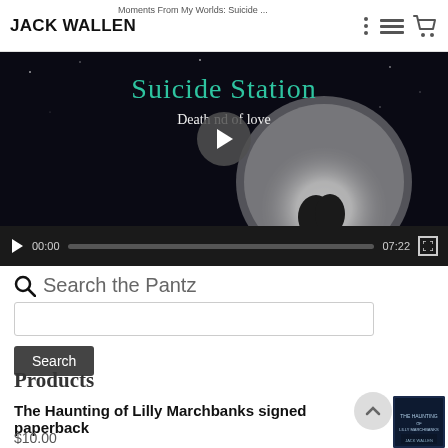JACK WALLEN | Moments From My Worlds: Suicide ...
[Figure (screenshot): Video player showing 'Suicide Station – Death ... nd of love' book/album cover with moon and silhouette couple. Controls show 00:00 / 07:22 with play button and fullscreen icon.]
Search the Pantz
[Figure (screenshot): Search input box with Search button below]
Products
The Haunting of Lilly Marchbanks signed paperback
$10.00